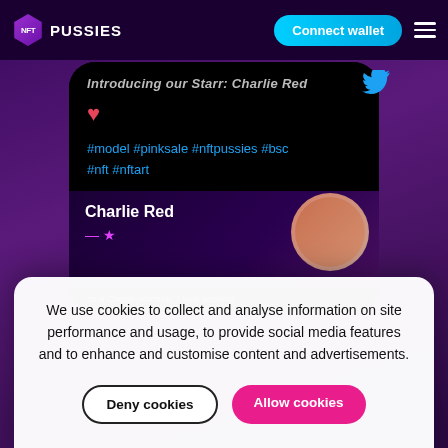[Figure (screenshot): NFT Pussies website screenshot showing navigation bar with logo, Connect wallet button, hamburger menu, a social media post card with hashtags, and a profile card for Charlie Red]
We use cookies to collect and analyse information on site performance and usage, to provide social media features and to enhance and customise content and advertisements.
Deny cookies
Allow cookies